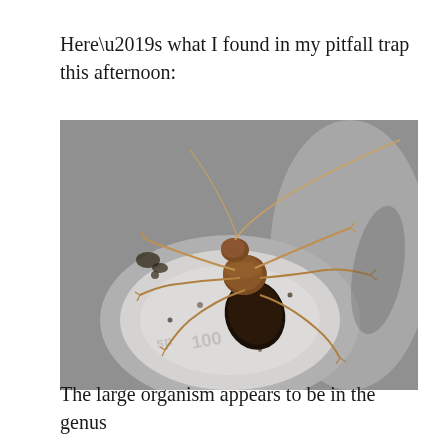Here’s what I found in my pitfall trap this afternoon:
[Figure (photo): Close-up photograph of a large insect (appears to be a cricket or ground beetle) inside a clear plastic pitfall trap cup. The insect is brown and black with long antennae and spiny legs, resting on the bottom of the cup which has embossed text visible. Dirt and debris are scattered around the insect.]
The large organism appears to be in the genus